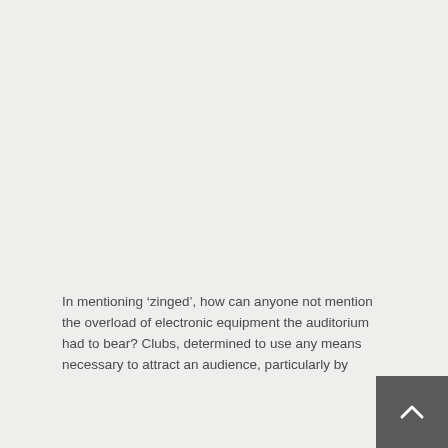In mentioning ‘zinged’, how can anyone not mention the overload of electronic equipment the auditorium had to bear? Clubs, determined to use any means necessary to attract an audience, particularly by